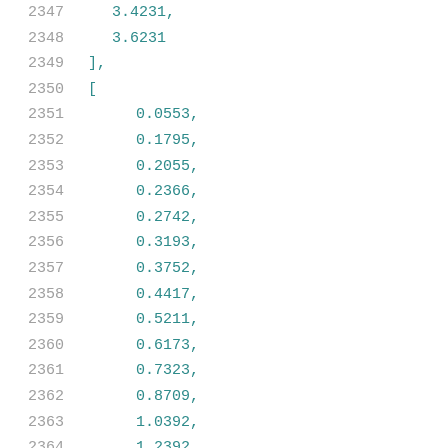2347    3.4231,
2348    3.6231
2349    ],
2350    [
2351        0.0553,
2352        0.1795,
2353        0.2055,
2354        0.2366,
2355        0.2742,
2356        0.3193,
2357        0.3752,
2358        0.4417,
2359        0.5211,
2360        0.6173,
2361        0.7323,
2362        0.8709,
2363        1.0392,
2364        1.2392,
2365        1.4749,
2366        1.7672,
2367        2.1103,
2368        2.5252,